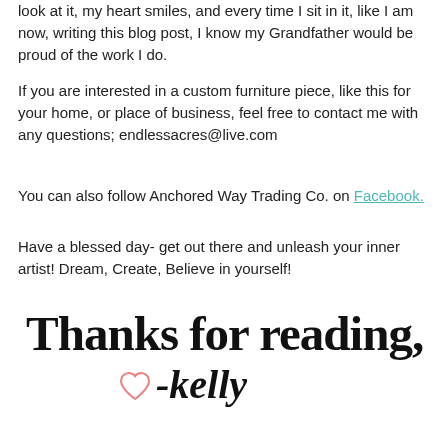look at it, my heart smiles, and every time I sit in it, like I am now, writing this blog post, I know my Grandfather would be proud of the work I do.
If you are interested in a custom furniture piece, like this for your home, or place of business, feel free to contact me with any questions; endlessacres@live.com
You can also follow Anchored Way Trading Co. on Facebook.
Have a blessed day- get out there and unleash your inner artist!  Dream, Create, Believe in yourself!
Thanks for reading, ♡-kelly